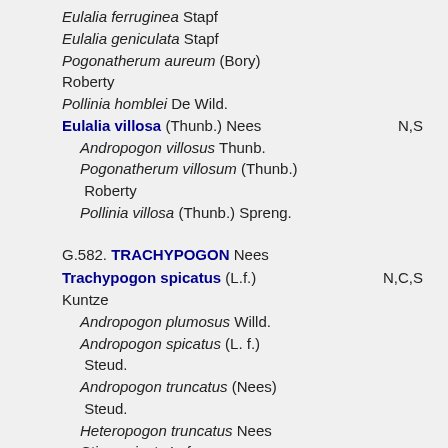Eulalia ferruginea Stapf
Eulalia geniculata Stapf
Pogonatherum aureum (Bory) Roberty
Pollinia homblei De Wild.
Eulalia villosa (Thunb.) Nees   N,S
Andropogon villosus Thunb.
Pogonatherum villosum (Thunb.) Roberty
Pollinia villosa (Thunb.) Spreng.
G.582. TRACHYPOGON Nees
Trachypogon spicatus (L.f.) Kuntze   N,C,S
Andropogon plumosus Willd.
Andropogon spicatus (L. f.) Steud.
Andropogon truncatus (Nees) Steud.
Heteropogon truncatus Nees
Stipa spicata L. f.
Trachypogon canensis Trin.